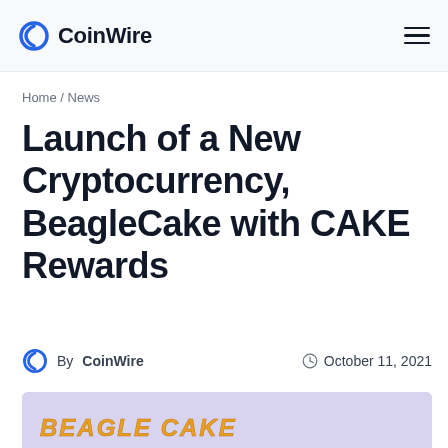CoinWire
Home / News
Launch of a New Cryptocurrency, BeagleCake with CAKE Rewards
By CoinWire   October 11, 2021
[Figure (illustration): BeagleCake cryptocurrency logo on a purple/lavender background, showing stylized text 'BeagleCake' in orange/gold bold italic font]